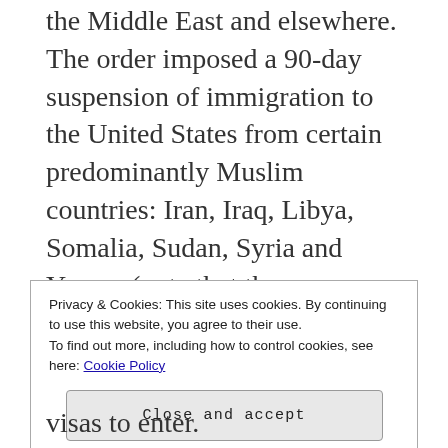the Middle East and elsewhere. The order imposed a 90-day suspension of immigration to the United States from certain predominantly Muslim countries: Iran, Iraq, Libya, Somalia, Sudan, Syria and Yemen (note that the perpetrators of 9/11 were from none of these countries). Greencard holders in those countries were blocked reentry to the U.S. The order also placed a 120-day ban on entry of people with refugee status and barred Syrian refugees indefinitely.
This resulted in crisis for many. People flew into the
Privacy & Cookies: This site uses cookies. By continuing to use this website, you agree to their use.
To find out more, including how to control cookies, see here: Cookie Policy
Close and accept
visas to enter.